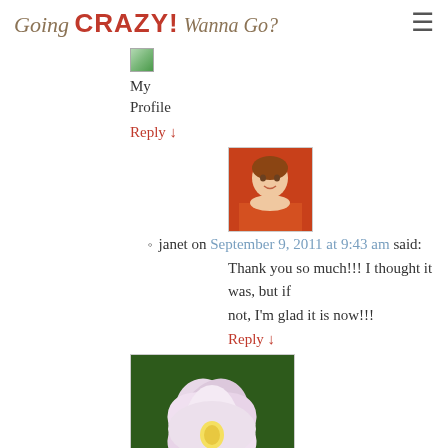Going CRAZY! Wanna Go?
[Figure (photo): Small profile image placeholder (broken image icon, green/landscape)]
My Profile
Reply ↓
[Figure (photo): Avatar of janet, woman in orange shirt smiling]
janet on September 9, 2011 at 9:43 am said:
Thank you so much!!! I thought it was, but if not, I'm glad it is now!!!
Reply ↓
[Figure (photo): Photo of a white/pink flower (iris or similar) against green background]
3. Rebecca H. (faithflower) on September 8, 2011 at 12:08 am said:
Hi again, Janet! I just followed you on facebook (wow do you have a bunch of followers!) and now